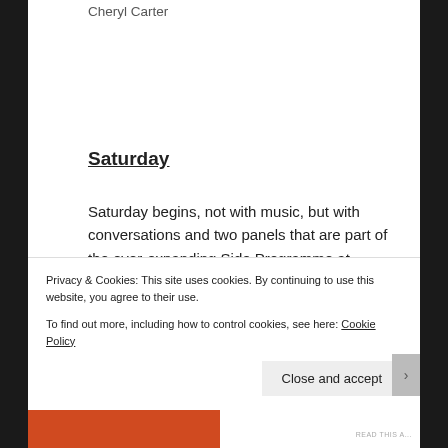Cheryl Carter
Saturday
Saturday begins, not with music, but with conversations and two panels that are part of the ever-expanding Side Programme at Roadburn Festival. Heilung speak openly and with much
Privacy & Cookies: This site uses cookies. By continuing to use this website, you agree to their use.
To find out more, including how to control cookies, see here: Cookie Policy
Close and accept